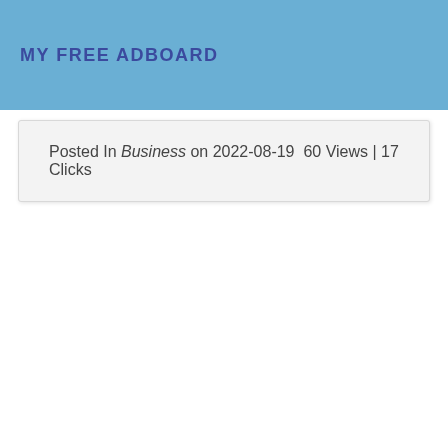MY FREE ADBOARD
Posted In Business on 2022-08-19  60 Views | 17 Clicks